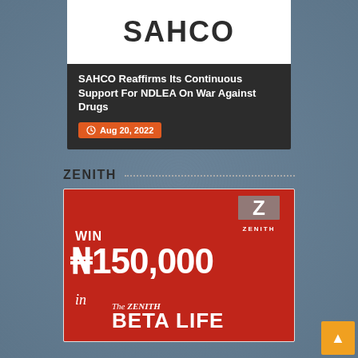[Figure (logo): SAHCO logo in white box]
SAHCO Reaffirms Its Continuous Support For NDLEA On War Against Drugs
Aug 20, 2022
ZENITH
[Figure (advertisement): Zenith Bank advertisement showing WIN ₦150,000 in The Zenith Beta Life promotion with red background and Zenith logo]